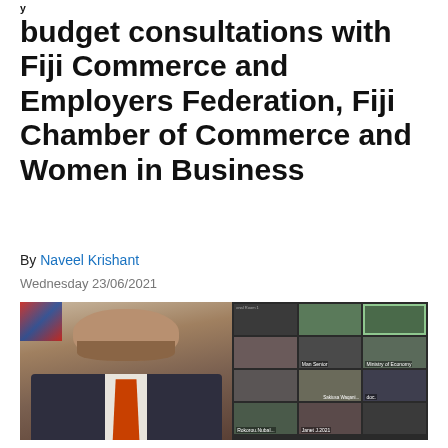budget consultations with Fiji Commerce and Employers Federation, Fiji Chamber of Commerce and Women in Business
By Naveel Krishant
Wednesday 23/06/2021
[Figure (photo): Left: A man in a dark suit with an orange tie speaking at a meeting. Right: A grid of video call participants on screen, including labels such as Sakiusa Waqani..., Rokorou Nabul..., Rohini Hamid, Vera Chute, Rajesh, and a TOP button overlay.]